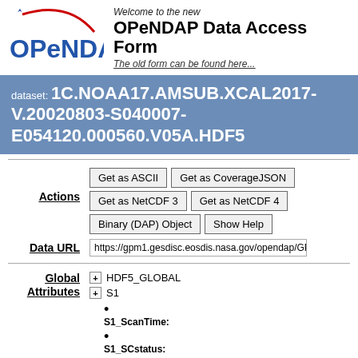[Figure (logo): OPeNDAP logo with red arc and blue star]
Welcome to the new OPeNDAP Data Access Form
The old form can be found here...
dataset: 1C.NOAA17.AMSUB.XCAL2017-V.20020803-S040007-E054120.000560.V05A.HDF5
Actions
Get as ASCII | Get as CoverageJSON | Get as NetCDF 3 | Get as NetCDF 4 | Binary (DAP) Object | Show Help
Data URL
https://gpm1.gesdisc.eosdis.nasa.gov/opendap/GPM_L1C
Global Attributes
+ HDF5_GLOBAL
+ S1
S1_ScanTime:
S1_SCstatus: